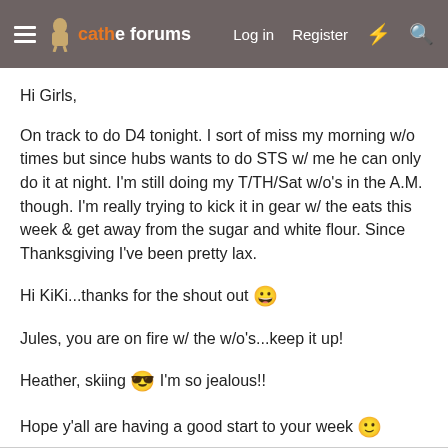cathe forums  Log in  Register
Hi Girls,
On track to do D4 tonight. I sort of miss my morning w/o times but since hubs wants to do STS w/ me he can only do it at night. I'm still doing my T/TH/Sat w/o's in the A.M. though. I'm really trying to kick it in gear w/ the eats this week & get away from the sugar and white flour. Since Thanksgiving I've been pretty lax.
Hi KiKi...thanks for the shout out 😀
Jules, you are on fire w/ the w/o's...keep it up!
Heather, skiing 😎 I'm so jealous!!
Hope y'all are having a good start to your week 🙂
Tracy